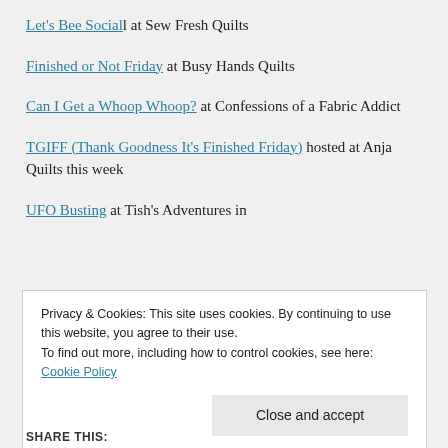Let's Bee Social at Sew Fresh Quilts
Finished or Not Friday at Busy Hands Quilts
Can I Get a Whoop Whoop? at Confessions of a Fabric Addict
TGIFF (Thank Goodness It's Finished Friday) hosted at Anja Quilts this week
UFO Busting at Tish's Adventures in
Privacy & Cookies: This site uses cookies. By continuing to use this website, you agree to their use. To find out more, including how to control cookies, see here: Cookie Policy
SHARE THIS: